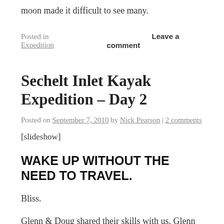moon made it difficult to see many.
Posted in Expedition   Leave a comment
Sechelt Inlet Kayak Expedition – Day 2
Posted on September 7, 2010 by Nick Pearson | 2 comments
[slideshow]
WAKE UP WITHOUT THE NEED TO TRAVEL.
Bliss.
Glenn & Doug shared their skills with us. Glenn covered light weight backpacking. Heard the tales of Bruce Knight who builds his own